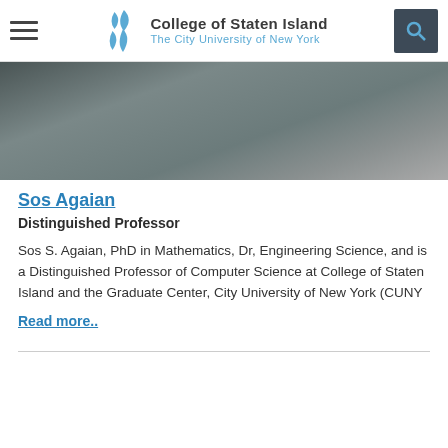College of Staten Island – The City University of New York
[Figure (photo): Partial view of a person wearing a dark jacket, photographed from behind/side outdoors]
Sos Agaian
Distinguished Professor
Sos S. Agaian, PhD in Mathematics, Dr, Engineering Science, and is a Distinguished Professor of Computer Science at College of Staten Island and the Graduate Center, City University of New York (CUNY
Read more..